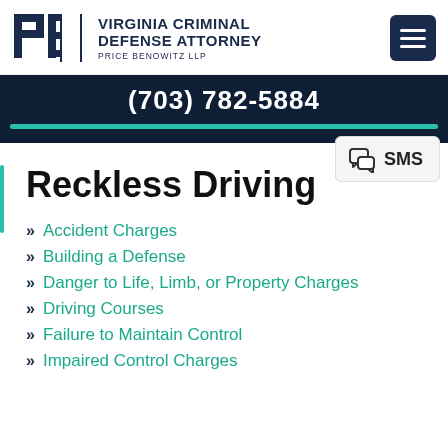VIRGINIA CRIMINAL DEFENSE ATTORNEY — PRICE BENOWITZ LLP | (703) 782-5884
[Figure (logo): PB logo with text Virginia Criminal Defense Attorney Price Benowitz LLP]
SMS
Reckless Driving
Accident Charges
Building a Defense
Danger to Life, Limb, or Property Charges
Driving Courses
Failure to Maintain Control
Impaired Control Charges